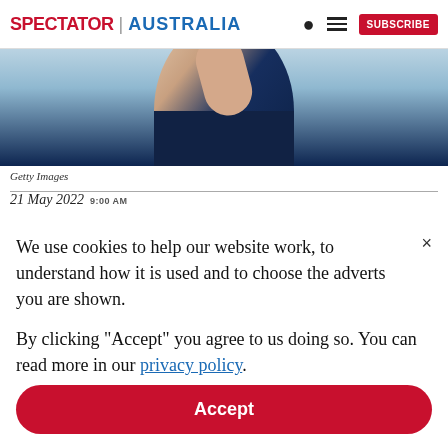SPECTATOR | AUSTRALIA  SUBSCRIBE
[Figure (photo): Cropped photo of a person wearing a dark navy polo shirt, arm raised, light blue background]
Getty Images
21 May 2022 9:00 AM
We use cookies to help our website work, to understand how it is used and to choose the adverts you are shown.

By clicking "Accept" you agree to us doing so. You can read more in our privacy policy.
Accept